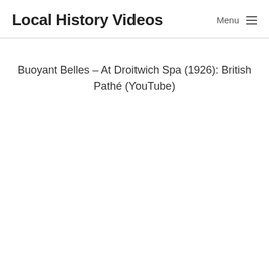Local History Videos
Buoyant Belles – At Droitwich Spa (1926): British Pathé (YouTube)